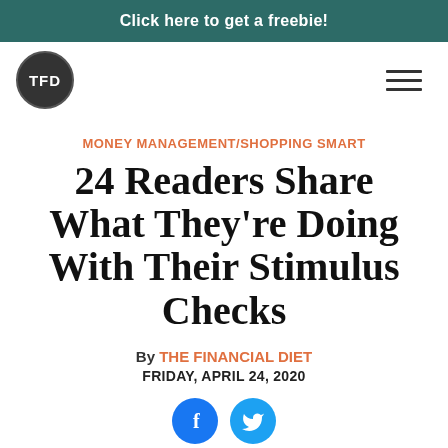Click here to get a freebie!
[Figure (logo): TFD circular logo with dark background and white text]
MONEY MANAGEMENT/SHOPPING SMART
24 Readers Share What They're Doing With Their Stimulus Checks
By THE FINANCIAL DIET
FRIDAY, APRIL 24, 2020
[Figure (infographic): Facebook and Twitter social sharing buttons]